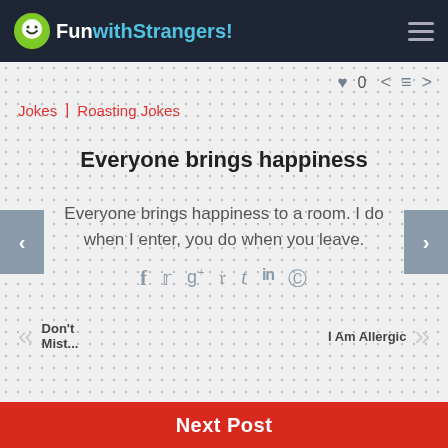FunwithStrangers!
♥ 0 < ≡ >
Jokes | Roasting Jokes
Everyone brings happiness
Everyone brings happiness to a room. I do when I enter, you do when you leave.
[Figure (infographic): Social share icons: facebook, twitter, google+, pinterest, tumblr, linkedin, reddit]
Don't Mist...
I Am Allergic
Next Post